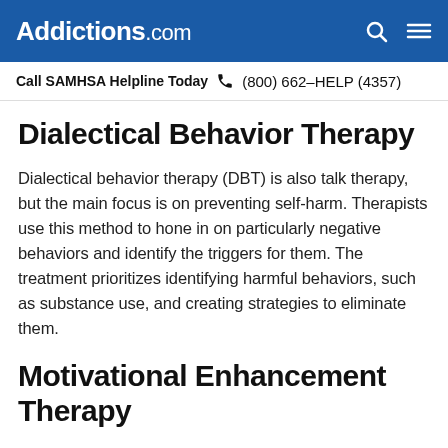Addictions.com
Call SAMHSA Helpline Today  (800) 662-HELP (4357)
Dialectical Behavior Therapy
Dialectical behavior therapy (DBT) is also talk therapy, but the main focus is on preventing self-harm. Therapists use this method to hone in on particularly negative behaviors and identify the triggers for them. The treatment prioritizes identifying harmful behaviors, such as substance use, and creating strategies to eliminate them.
Motivational Enhancement Therapy